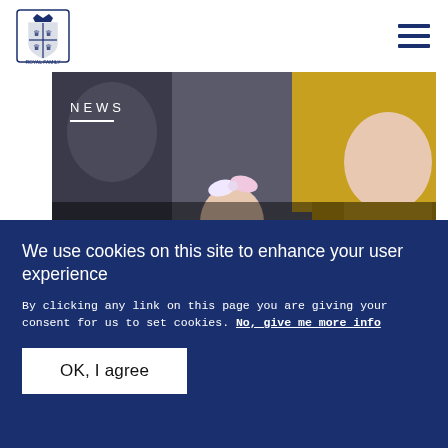[Figure (logo): Royal coat of arms logo in navy blue]
[Figure (photo): Photo of Duke and Duchess of Cambridge greeting a young girl with a hair bow in a crowd, with a woman in yellow jacket visible]
NEWS
The Duke and Duchess of Cambridge visit
We use cookies on this site to enhance your user experience
By clicking any link on this page you are giving your consent for us to set cookies. No, give me more info
OK, I agree